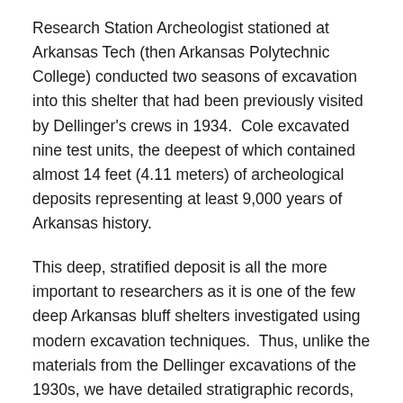Research Station Archeologist stationed at Arkansas Tech (then Arkansas Polytechnic College) conducted two seasons of excavation into this shelter that had been previously visited by Dellinger's crews in 1934. Cole excavated nine test units, the deepest of which contained almost 14 feet (4.11 meters) of archeological deposits representing at least 9,000 years of Arkansas history.
This deep, stratified deposit is all the more important to researchers as it is one of the few deep Arkansas bluff shelters investigated using modern excavation techniques. Thus, unlike the materials from the Dellinger excavations of the 1930s, we have detailed stratigraphic records, along with approximately 450 diagnostic hafted bifaces, and 42 un-dated radiocarbon samples. Unfortunately, Cole left the Arkansas Archeological Survey shortly following these excavations, leaving this collection curated, but largely untouched for 47 years.